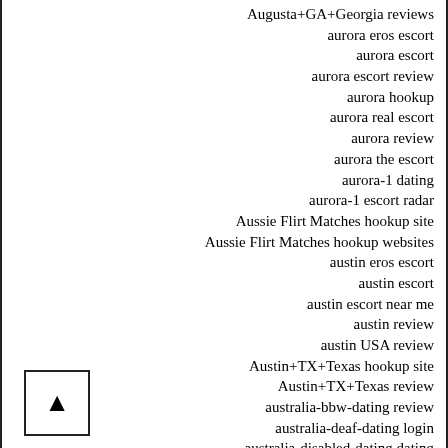Augusta+GA+Georgia reviews
aurora eros escort
aurora escort
aurora escort review
aurora hookup
aurora real escort
aurora review
aurora the escort
aurora-1 dating
aurora-1 escort radar
Aussie Flirt Matches hookup site
Aussie Flirt Matches hookup websites
austin eros escort
austin escort
austin escort near me
austin review
austin USA review
Austin+TX+Texas hookup site
Austin+TX+Texas review
australia-bbw-dating review
australia-deaf-dating login
australia-disabled-dating dating
australia-elite-dating review
australia-inmate-dating reviews
australia-interracial-dating review
australia-interracial-dating reviews
australia-mature-dating search